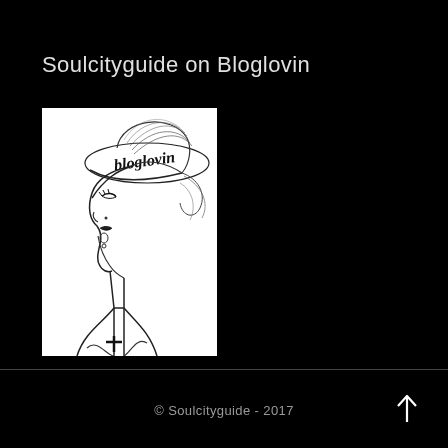Soulcityguide on Bloglovin
[Figure (illustration): Black and white fashion illustration of a stylized woman in profile wearing a hat with 'Bloglovin' written in script on it, with a cross symbol on her garment]
© Soulcityguide - 2017